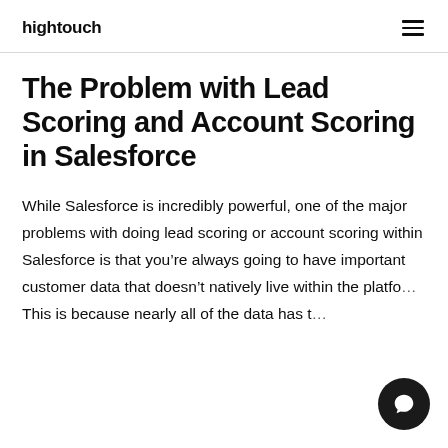hightouch
The Problem with Lead Scoring and Account Scoring in Salesforce
While Salesforce is incredibly powerful, one of the major problems with doing lead scoring or account scoring within Salesforce is that you’re always going to have important customer data that doesn’t natively live within the platfo… This is because nearly all of the data has t…